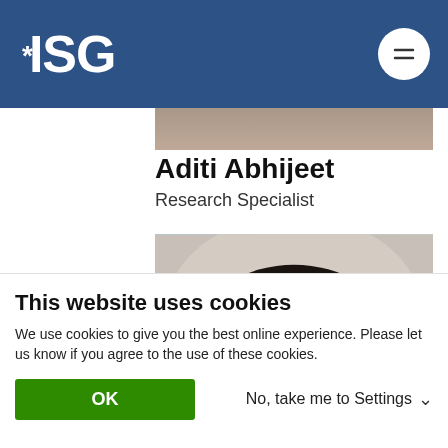ISG
Aditi Abhijeet
Research Specialist
[Figure (photo): Professional headshot portrait of a man with dark hair against a light background]
This website uses cookies
We use cookies to give you the best online experience. Please let us know if you agree to the use of these cookies.
OK
No, take me to Settings